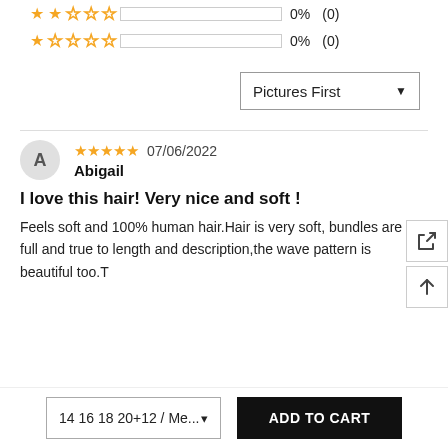[Figure (other): 2-star rating row with empty progress bar, 0%, (0)]
[Figure (other): 1-star rating row with empty progress bar, 0%, (0)]
Pictures First ▼
A  ★★★★★ 07/06/2022  Abigail
I love this hair! Very nice and soft!
Feels soft and 100% human hair.Hair is very soft, bundles are full and true to length and description,the wave pattern is beautiful too.T
14 16 18 20+12 / Me... ▾
ADD TO CART